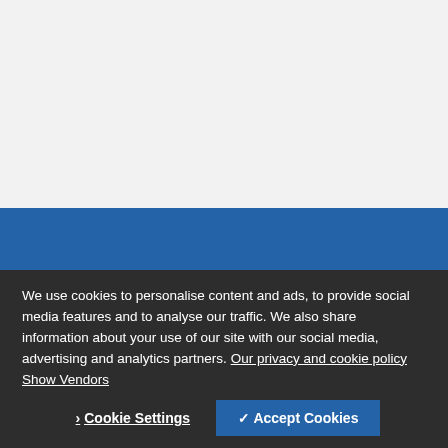[Figure (other): Light gray background area at top of page, above a blue horizontal banner bar.]
We use cookies to personalise content and ads, to provide social media features and to analyse our traffic. We also share information about your use of our site with our social media, advertising and analytics partners. Our privacy and cookie policy Show Vendors
› Cookie Settings ✓ Accept Cookies